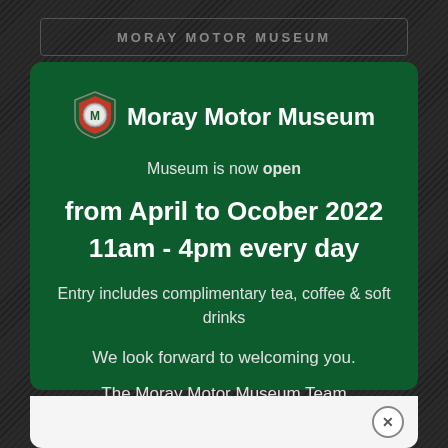MORAY MOTOR MUSEUM
[Figure (logo): Moray Motor Museum shield logo with stylized M]
Moray Motor Museum
Museum is now open
from April to Ocober 2022
11am - 4pm every day
Entry includes complimentary tea, coffee & soft drinks
We look forward to welcoming you.
The Moray Motor Museum Team